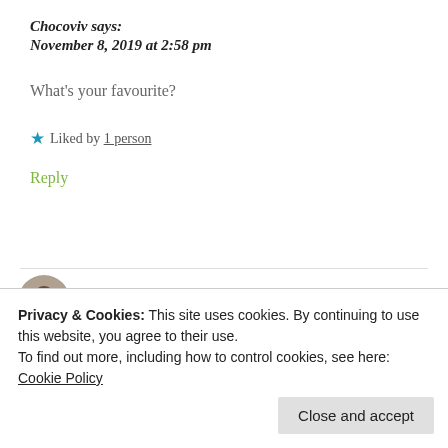Chocoviv says:
November 8, 2019 at 2:58 pm
What's your favourite?
★ Liked by 1 person
Reply
seanarchy says:
Privacy & Cookies: This site uses cookies. By continuing to use this website, you agree to their use.
To find out more, including how to control cookies, see here: Cookie Policy
Close and accept